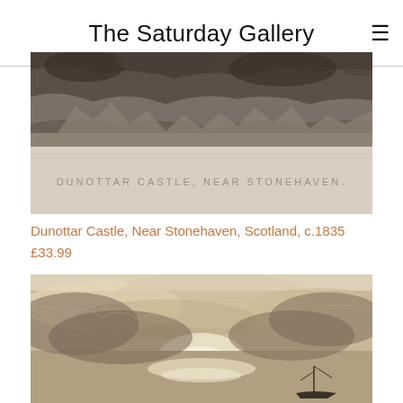The Saturday Gallery
[Figure (photo): Antique engraving of Dunottar Castle, Near Stonehaven. The bottom portion shows a light-colored plate with the caption text 'DUNOTTAR CASTLE, NEAR STONEHAVEN.' in faded lettering on a cream/beige background.]
Dunottar Castle, Near Stonehaven, Scotland, c.1835
£33.99
[Figure (photo): Antique sepia/monochrome engraving or painting showing a dramatic seascape with stormy clouds, a bright reflection on the water, and a sailing vessel silhouette in the lower right. The sky is dynamic with swirling clouds and a glowing light source near the horizon.]